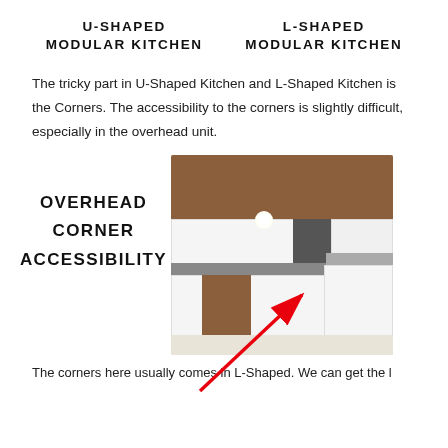U-SHAPED MODULAR KITCHEN
L-SHAPED MODULAR KITCHEN
The tricky part in U-Shaped Kitchen and L-Shaped Kitchen is the Corners. The accessibility to the corners is slightly difficult, especially in the overhead unit.
[Figure (photo): Photo of a U-shaped or L-shaped modular kitchen showing overhead cabinets with wood and white finishes, with a red arrow pointing to the corner area of the overhead unit. Left side labels read OVERHEAD CORNER ACCESSIBILITY.]
The corners here usually comes in L-Shaped. We can get the l